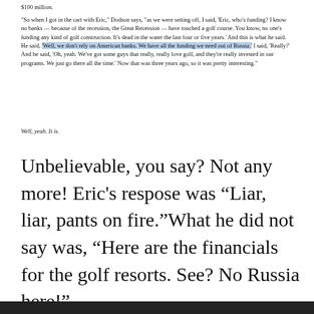$100 million.
"So when I got in the cart with Eric," Dodson says, "as we were setting off, I said, 'Eric, who's funding? I know no banks — because of the recession, the Great Recession — have touched a golf course. You know, no one's funding any kind of golf construction. It's dead in the water the last four or five years.' And this is what he said. He said, 'Well, we don't rely on American banks. We have all the funding we need out of Russia.' I said, 'Really?' And he said, 'Oh, yeah. We've got some guys that really, really love golf, and they're really invested in our programs. We just go there all the time.' Now that was three years ago, so it was pretty interesting."
Well, yeah. It is.
Unbelievable, you say? Not any more!  Eric's respose was “Liar, liar, pants on fire.”What he did not say was, “Here are the financials for the golf resorts.  See? No Russia here!”